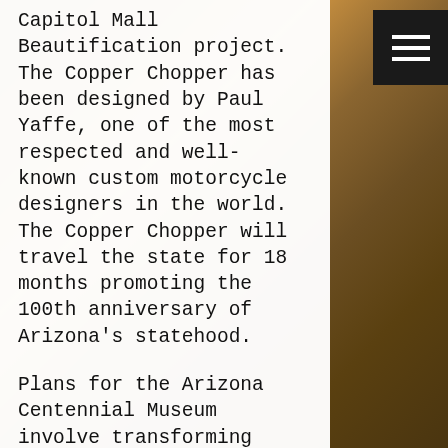Capitol Mall Beautification project. The Copper Chopper has been designed by Paul Yaffe, one of the most respected and well-known custom motorcycle designers in the world. The Copper Chopper will travel the state for 18 months promoting the 100th anniversary of Arizona's statehood.
Plans for the Arizona Centennial Museum involve transforming the current Arizona Mining & Mineral Museum into a state-of-the-art interactive centennial museum that will incorporate the past, present and future of Arizona. For more information visit www.Arizona100.org.